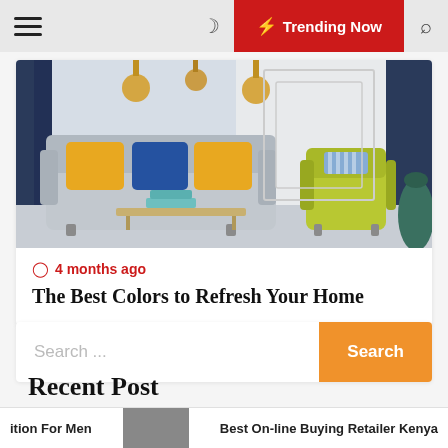≡ ☽ ⚡ Trending Now 🔍
[Figure (photo): Interior living room with grey sofa, yellow and blue decorative pillows, gold pendant lights, navy curtains, and a chartreuse accent chair]
🕐 4 months ago
The Best Colors to Refresh Your Home
Search ...
Recent Post
ition For Men   Best On-line Buying Retailer Kenya